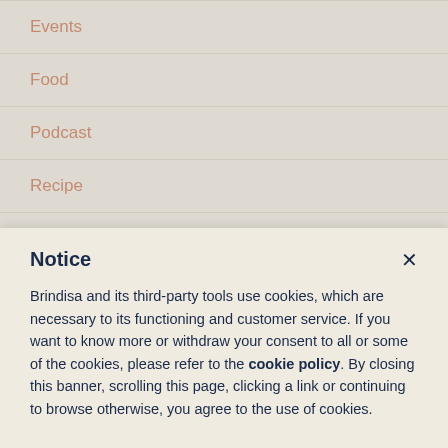Events
Food
Podcast
Recipe
spanish dessert recipes
Spanish Tapas Party Recipes
Notice
Brindisa and its third-party tools use cookies, which are necessary to its functioning and customer service. If you want to know more or withdraw your consent to all or some of the cookies, please refer to the cookie policy. By closing this banner, scrolling this page, clicking a link or continuing to browse otherwise, you agree to the use of cookies.